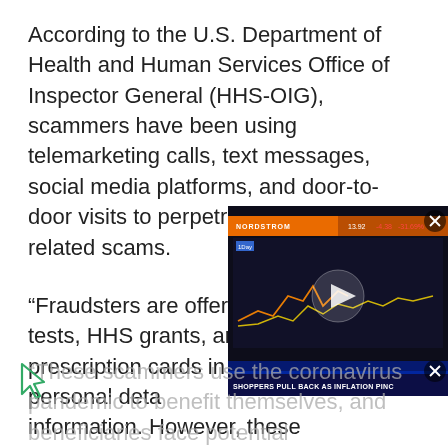According to the U.S. Department of Health and Human Services Office of Inspector General (HHS-OIG), scammers have been using telemarketing calls, text messages, social media platforms, and door-to-door visits to perpetrate COVID-19-related scams.
“Fraudsters are offering COVID-19 tests, HHS grants, and Medicare prescription cards in exchange for personal details and medical information. However, these are unapproved and illegitimate,” HHS-OIG said.
[Figure (screenshot): A video player overlay showing a financial news clip with a stock chart and the ticker text 'SHOPPERS PULL BACK AS INFLATION PINC' visible at the bottom, with a play button in the center. A close button (X) appears in the top-right corner.]
“These scammers use the coronavirus pandemic to benefit themselves, and beneficiaries face potential...